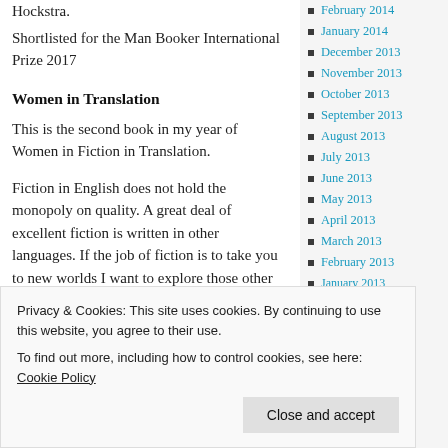Hockstra.
Shortlisted for the Man Booker International Prize 2017
Women in Translation
This is the second book in my year of Women in Fiction in Translation.
Fiction in English does not hold the monopoly on quality. A great deal of excellent fiction is written in other languages. If the job of fiction is to take you to new worlds I want to explore those other worlds written in another language as well as those in English. Only 4% of fiction
February 2014
January 2014
December 2013
November 2013
October 2013
September 2013
August 2013
July 2013
June 2013
May 2013
April 2013
March 2013
February 2013
January 2013
quality either. Promoting fiction by women is
Privacy & Cookies: This site uses cookies. By continuing to use this website, you agree to their use.
To find out more, including how to control cookies, see here: Cookie Policy
Close and accept